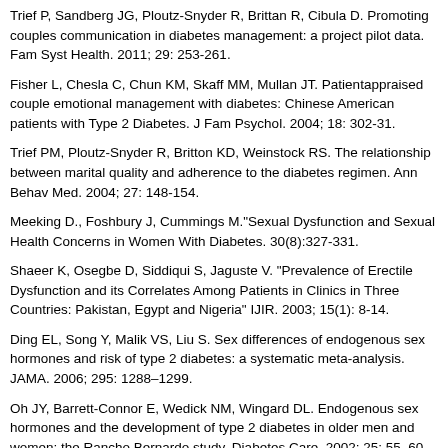Trief P, Sandberg JG, Ploutz-Snyder R, Brittan R, Cibula D. Promoting couples communication in diabetes management: a project pilot data. Fam Syst Health. 2011; 29: 253-261.
Fisher L, Chesla C, Chun KM, Skaff MM, Mullan JT. Patientappraised couple emotional management with diabetes: Chinese American patients with Type 2 Diabetes. J Fam Psychol. 2004; 18: 302-31.
Trief PM, Ploutz-Snyder R, Britton KD, Weinstock RS. The relationship between marital quality and adherence to the diabetes regimen. Ann Behav Med. 2004; 27: 148-154.
Meeking D., Foshbury J, Cummings M."Sexual Dysfunction and Sexual Health Concerns in Women With Diabetes. 30(8):327-331.
Shaeer K, Osegbe D, Siddiqui S, Jaguste V. "Prevalence of Erectile Dysfunction and its Correlates Among Patients in Clinics in Three Countries: Pakistan, Egypt and Nigeria" IJIR. 2003; 15(1): 8-14.
Ding EL, Song Y, Malik VS, Liu S. Sex differences of endogenous sex hormones and risk of type 2 diabetes: a systematic meta-analysis. JAMA. 2006; 295: 1288–1299.
Oh JY, Barrett-Connor E, Wedick NM, Wingard DL. Endogenous sex hormones and the development of type 2 diabetes in older men and women: the Rancho Bernardo study. Diabetes Care. 2002; 25: 55–60.
Rohwer RD, Liu S, You NC, Buring JE, Manson JE, Song Y. Interrelationship between sex hormones and plasma sex hormones on diabetes risk in postmenopausal women. J Amer Coll Nutr. 2015; 34:
Elabbady A, Hashad MM, Kotb AF, Ghanem AE. Studying the effect of type 2 diabetes on erectile dysfunction: a prospective single institutional study. Prostate International. 2016; 4:156–159.
Qiu-ming Yao, Bin Wang, Xiao-fei An, Jin-an Zhang, Liumei Ding. Testosterone levels and risk of type 2 diabetes in men: a systematic review and meta-analysis. Endocr Connect. 2018; 7(1): 220–231.